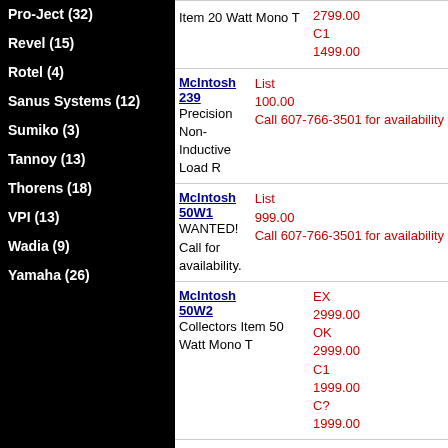Pro-Ject (32)
Revel (15)
Rotel (4)
Sanus Systems (12)
Sumiko (3)
Tannoy (13)
Thorens (18)
VPI (13)
Wadia (9)
Yamaha (26)
| Product | Description | Price |
| --- | --- | --- |
|  | Item 20 Watt Mono T | 2799.00 C1 1499.00 |
| McIntosh 239 | Precision Non-Inductive Load R | List 100.00 Call 607-766-3501 for availability |
| McIntosh 50W1 | WANTED! Call for availability. | List 999.00 Call 607-766-3501 for availability |
| McIntosh 50W2 | Collectors Item 50 Watt Mono T | EX 2999.00 OK 2999.00 C1 1999.00 C? 1999.00 |
| McIntosh A104 |  | C2 1500.00 |